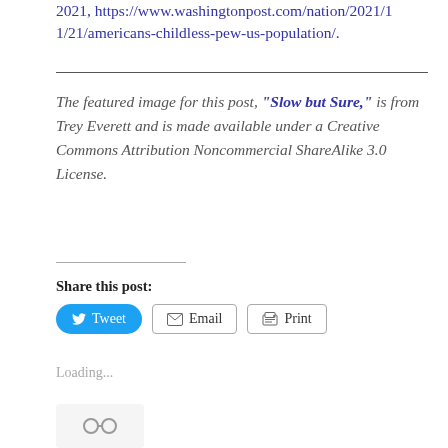2021, https://www.washingtonpost.com/nation/2021/11/21/americans-childless-pew-us-population/.
The featured image for this post, "Slow but Sure," is from Trey Everett and is made available under a Creative Commons Attribution Noncommercial ShareAlike 3.0 License.
Share this post:
Tweet  Email  Print
Loading...